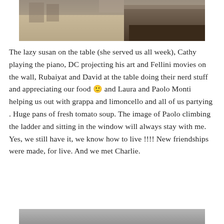[Figure (photo): Indoor photo showing a concrete floor, open room space, and dark wooden furniture/credenza on the right side]
The lazy susan on the table (she served us all week), Cathy playing the piano, DC projecting his art and Fellini movies on the wall, Rubaiyat and David at the table doing their nerd stuff and appreciating our food 🙂 and Laura and Paolo Monti helping us out with grappa and limoncello and all of us partying . Huge pans of fresh tomato soup. The image of Paolo climbing the ladder and sitting in the window will always stay with me. Yes, we still have it, we know how to live !!!! New friendships were made, for live. And we met Charlie.
[Figure (photo): Bottom portion of another indoor photo, gray background visible]